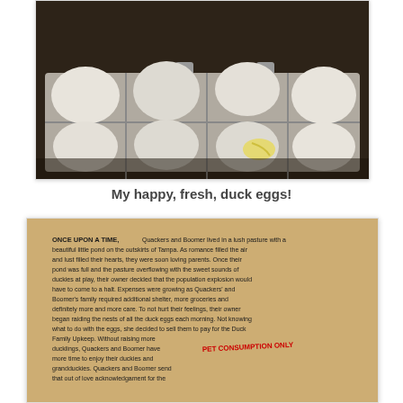[Figure (photo): A carton of fresh white duck eggs, one with yellow yolk smear, on a dark countertop]
My happy, fresh, duck eggs!
[Figure (photo): Handwritten note on aged/yellowed paper describing the story of Quackers and Boomer, two ducks, and the sale of their eggs. A red stamp reads 'NOT FOR HUMAN CONSUMPTION ONLY' partially visible.]
ONCE UPON A TIME, Quackers and Boomer lived in a lush pasture with a beautiful little pond on the outskirts of Tampa. As romance filled the air and lust filled their hearts, they were soon loving parents. Once their pond was full and the pasture overflowing with the sweet sounds of duckies at play, their owner decided that the population explosion would have to come to a halt. Expenses were growing as Quackers' and Boomer's family required additional shelter, more groceries and definitely more and more care. To not hurt their feelings, their owner began raiding the nests of all the duck eggs each morning. Not knowing what to do with the eggs, she decided to sell them to pay for the Duck Family Upkeep. Without raising more ducklings, Quackers and Boomer have more time to enjoy their duckies and grandduckies. Quackers and Boomer send that out of love acknowledgament for the
PET CONSUMPTION ONLY